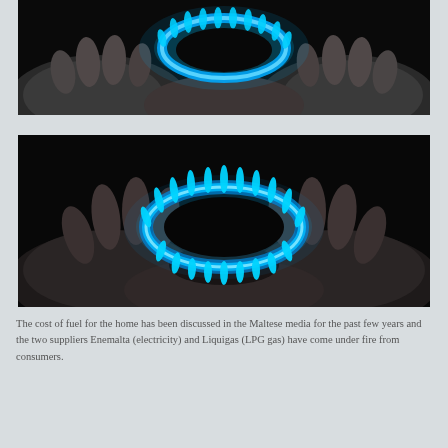[Figure (photo): Black and white photograph of two hands cupping a blue gas flame burner ring, viewed from above, partially cropped (top portion of image)]
[Figure (photo): Black and white photograph of two hands cupping a glowing blue circular gas burner flame ring against a dark background]
The cost of fuel for the home has been discussed in the Maltese media for the past few years and the two suppliers Enemalta (electricity) and Liquigas (LPG gas) have come under fire from consumers.